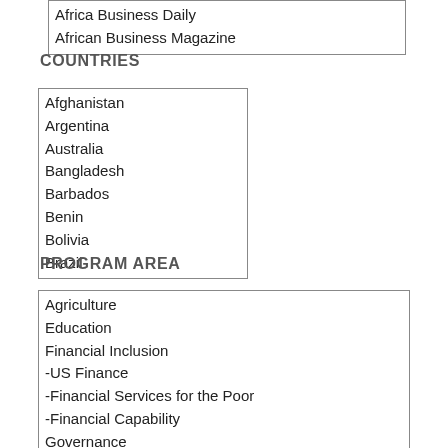Africa Business Daily
African Business Magazine
COUNTRIES
Afghanistan
Argentina
Australia
Bangladesh
Barbados
Benin
Bolivia
Brazil
PROGRAM AREA
Agriculture
Education
Financial Inclusion
-US Finance
-Financial Services for the Poor
-Financial Capability
Governance
Health
Peace and Recovery